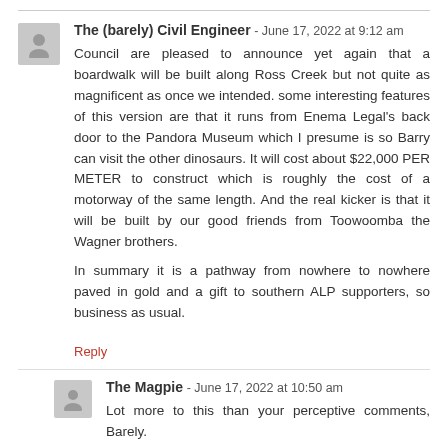The (barely) Civil Engineer - June 17, 2022 at 9:12 am
Council are pleased to announce yet again that a boardwalk will be built along Ross Creek but not quite as magnificent as once we intended. some interesting features of this version are that it runs from Enema Legal's back door to the Pandora Museum which I presume is so Barry can visit the other dinosaurs. It will cost about $22,000 PER METER to construct which is roughly the cost of a motorway of the same length. And the real kicker is that it will be built by our good friends from Toowoomba the Wagner brothers.

In summary it is a pathway from nowhere to nowhere paved in gold and a gift to southern ALP supporters, so business as usual.
Reply
The Magpie - June 17, 2022 at 10:50 am
Lot more to this than your perceptive comments, Barely.